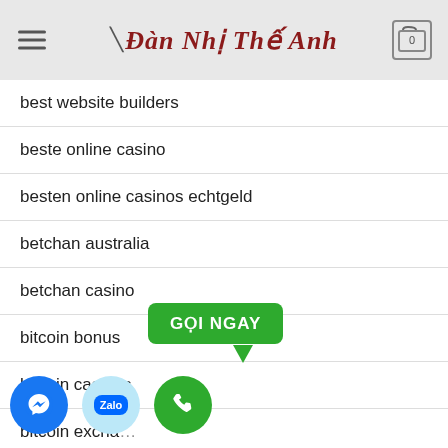Đàn Nhị Thế Anh
best website builders
beste online casino
besten online casinos echtgeld
betchan australia
betchan casino
bitcoin bonus
bitcoin casinos
bitcoin excha…
bonus bez depozytu
[Figure (infographic): Green 'GỌI NGAY' speech bubble tooltip above a green phone call button, alongside a blue Messenger icon and a Zalo icon at the bottom left of the screen.]